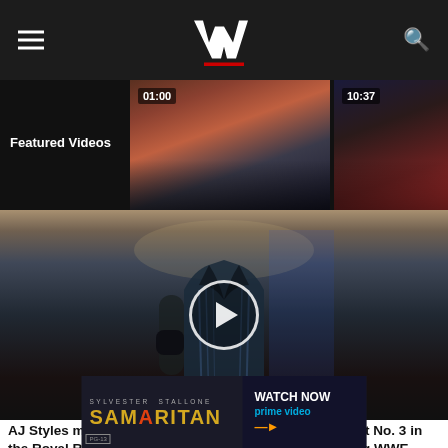[Figure (screenshot): WWE website header with hamburger menu, WWE logo (W with red stripe), and search icon on dark background]
[Figure (screenshot): Featured Videos strip showing two video thumbnails with timestamps 01:00 and 10:37, plus partial third thumbnail labeled 02, on dark background]
Featured Videos
[Figure (photo): AJ Styles in a blue/black leather vest walking to the ring, with a play button overlay circle in the center]
AJ Styles makes his presence known in WWE as entrant No. 3 in the Royal Rumble Match: Courtesy of the award-winning WWE Network.
[Figure (photo): Samaritan movie ad banner with Sylvester Stallone text, SAMARITAN title in gold with orange S accent, and WATCH NOW prime video on the right]